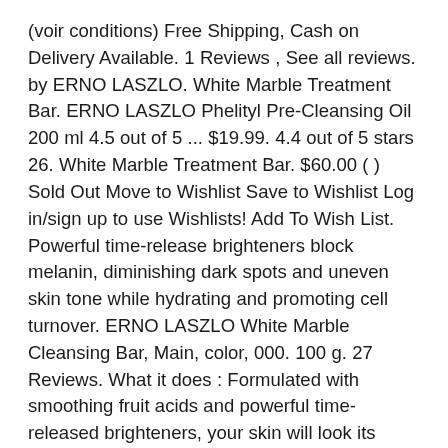(voir conditions) Free Shipping, Cash on Delivery Available. 1 Reviews , See all reviews. by ERNO LASZLO. White Marble Treatment Bar. ERNO LASZLO Phelityl Pre-Cleansing Oil 200 ml 4.5 out of 5 ... $19.99. 4.4 out of 5 stars 26. White Marble Treatment Bar. $60.00 ( ) Sold Out Move to Wishlist Save to Wishlist Log in/sign up to use Wishlists! Add To Wish List. Powerful time-release brighteners block melanin, diminishing dark spots and uneven skin tone while hydrating and promoting cell turnover. ERNO LASZLO White Marble Cleansing Bar, Main, color, 000. 100 g. 27 Reviews. What it does : Formulated with smoothing fruit acids and powerful time-released brighteners, your skin will look its brightest and most balanced all day. Free shipping. 1.0. To be honest, not a big fan of facial bar soaps but would definitely purchase this one. Before using the White Marble Treatment Bar, I have never used bar soap as a cleanser but let me tell you, this is now a staple in my cleansing